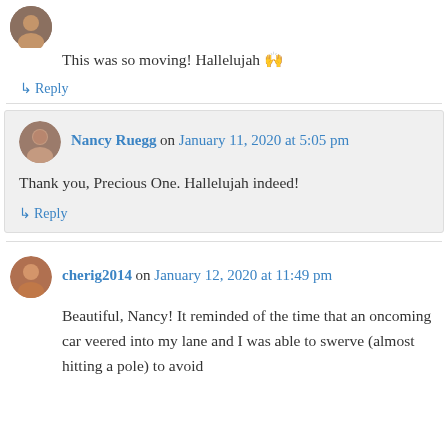This was so moving! Hallelujah 🙌
↳ Reply
Nancy Ruegg on January 11, 2020 at 5:05 pm
Thank you, Precious One. Hallelujah indeed!
↳ Reply
cherig2014 on January 12, 2020 at 11:49 pm
Beautiful, Nancy! It reminded of the time that an oncoming car veered into my lane and I was able to swerve (almost hitting a pole) to avoid